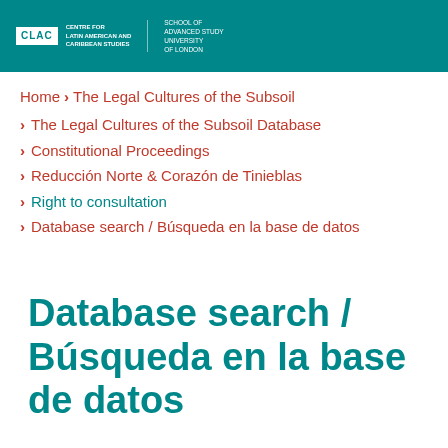CLAC | Centre for Latin American and Caribbean Studies | School of Advanced Study, University of London
Home > The Legal Cultures of the Subsoil
The Legal Cultures of the Subsoil Database
Constitutional Proceedings
Reducción Norte & Corazón de Tinieblas
Right to consultation
Database search / Búsqueda en la base de datos
Database search / Búsqueda en la base de datos